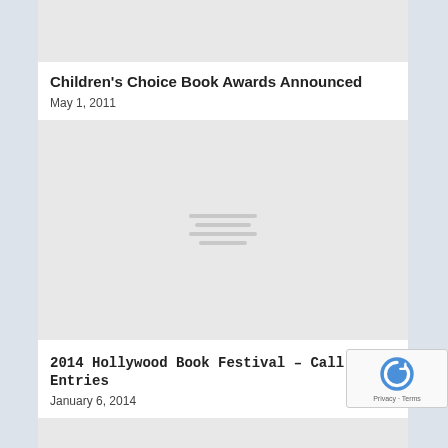[Figure (photo): Gray placeholder image at top of page, partially visible]
Children's Choice Book Awards Announced
May 1, 2011
[Figure (photo): Gray placeholder image with centered loading/text lines icon]
2014 Hollywood Book Festival – Call for Entries
January 6, 2014
[Figure (photo): Gray placeholder image at bottom, partially visible]